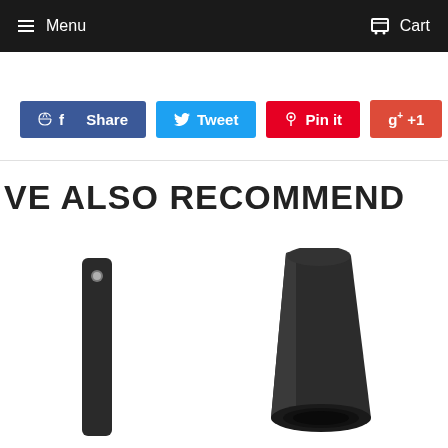Menu  Cart
Share  Tweet  Pin it  +1
WE ALSO RECOMMEND
[Figure (photo): Black rectangular bar/stick with a small hole near the top, shown vertically]
[Figure (photo): Black tapered cylindrical tube/tip, wider at top and hollow at bottom, shown at an angle]